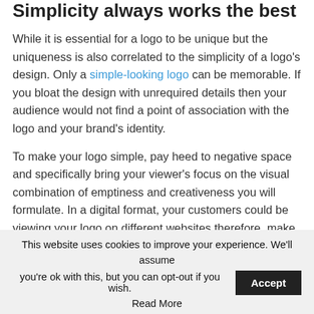Simplicity always works the best
While it is essential for a logo to be unique but the uniqueness is also correlated to the simplicity of a logo's design. Only a simple-looking logo can be memorable. If you bloat the design with unrequired details then your audience would not find a point of association with the logo and your brand's identity.
To make your logo simple, pay heed to negative space and specifically bring your viewer's focus on the visual combination of emptiness and creativeness you will formulate. In a digital format, your customers could be viewing your logo on different websites therefore, make sure it looks appealing then too.
This website uses cookies to improve your experience. We'll assume you're ok with this, but you can opt-out if you wish. Accept
Read More